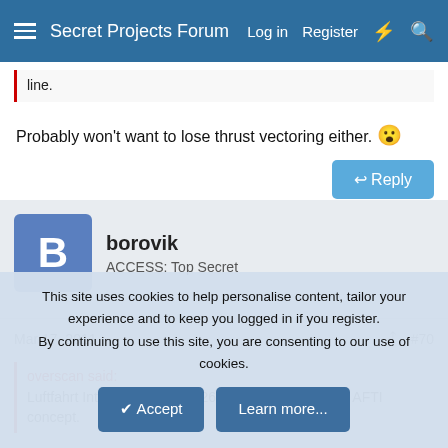Secret Projects Forum  Log in  Register
line.
Probably won't want to lose thrust vectoring either. 😮
borovik
ACCESS: Top Secret
Mar 17, 2011  #70
overscan said:
Luftfahrt International Issue 26 had an article on this AFTI concept.
This site uses cookies to help personalise content, tailor your experience and to keep you logged in if you register.
By continuing to use this site, you are consenting to our use of cookies.